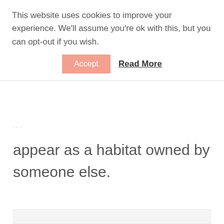This website uses cookies to improve your experience. We'll assume you're ok with this, but you can opt-out if you wish.
Accept   Read More
appear as a habitat owned by someone else.
[Figure (other): Light gray placeholder image area at the bottom of the page]